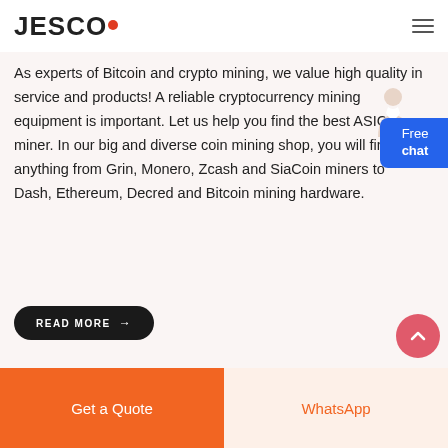JESCO
As experts of Bitcoin and crypto mining, we value high quality in service and products! A reliable cryptocurrency mining equipment is important. Let us help you find the best ASIC miner. In our big and diverse coin mining shop, you will find anything from Grin, Monero, Zcash and SiaCoin miners to Dash, Ethereum, Decred and Bitcoin mining hardware.
[Figure (illustration): Free chat widget with blue background showing 'Free chat' text and a customer service avatar]
READ MORE →
[Figure (illustration): Salmon/pink circular scroll-to-top button with upward chevron arrow]
Get a Quote | WhatsApp